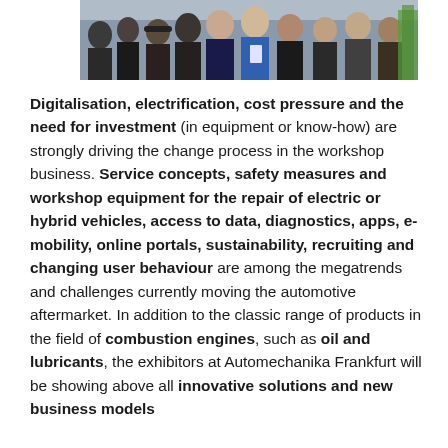[Figure (photo): Crowd of people at what appears to be a trade show or exhibition event, viewed from the side, several people visible including one person wearing a blue top]
Digitalisation, electrification, cost pressure and the need for investment (in equipment or know-how) are strongly driving the change process in the workshop business. Service concepts, safety measures and workshop equipment for the repair of electric or hybrid vehicles, access to data, diagnostics, apps, e-mobility, online portals, sustainability, recruiting and changing user behaviour are among the megatrends and challenges currently moving the automotive aftermarket. In addition to the classic range of products in the field of combustion engines, such as oil and lubricants, the exhibitors at Automechanika Frankfurt will be showing above all innovative solutions and new business models